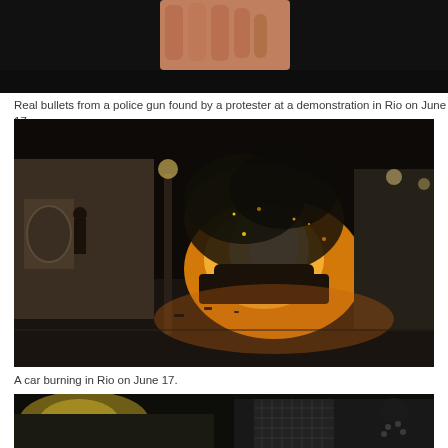[Figure (photo): Partial view of a hand holding real bullets from a police gun at a demonstration in Rio on June 17.]
Real bullets from a police gun found by a protester at a demonstration in Rio on June 17.
[Figure (photo): A car burning on a street in Rio on June 17, with large flames and smoke billowing, buildings and a lamp post visible in background.]
A car burning in Rio on June 17.
[Figure (photo): Partial view of a street scene in Rio at night, with yellow lights and a person visible.]